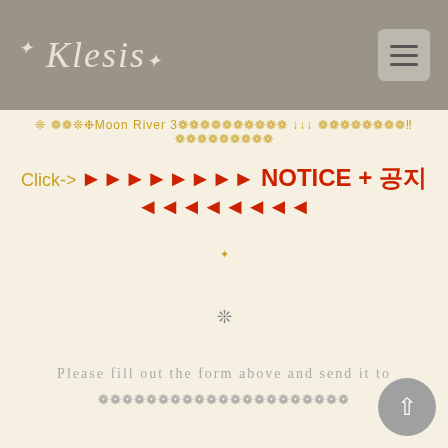*Klesis*
❊ ❁❁❊❉Moon River 3❁❁❁❁❁❁❁❁❁❁ ↓↓↓ ❁❁❁❁❁❁❁❁↕↕❁❁❁❁❁❁❁❁❁
Click-> ►►►►►►►► NOTICE + 공지 ◄◄◄◄◄◄◄◄
*
❊
Please fill out the form above and send it to
❁❁❁❁❁❁❁❁❁❁❁❁❁❁❁❁❁❁❁❁❁